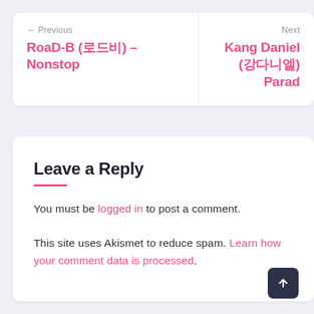← Previous
RoaD-B (로드비) – Nonstop
Next
Kang Daniel (강다니엘) – Parad
Leave a Reply
You must be logged in to post a comment.
This site uses Akismet to reduce spam. Learn how your comment data is processed.